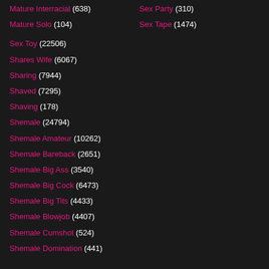Mature Interracial (638)
Sex Party (310)
Mature Solo (104)
Sex Tape (1474)
Sex Toy (22506)
Shares Wife (6067)
Sharing (7944)
Shaved (7295)
Shaving (178)
Shemale (24794)
Shemale Amateur (10262)
Shemale Bareback (2651)
Shemale Big Ass (3540)
Shemale Big Cock (6473)
Shemale Big Tits (4433)
Shemale Blowjob (4407)
Shemale Cumshot (524)
Shemale Domination (441)